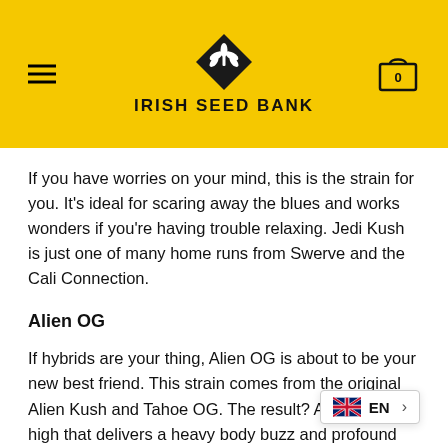IRISH SEED BANK
If you have worries on your mind, this is the strain for you. It’s ideal for scaring away the blues and works wonders if you’re having trouble relaxing. Jedi Kush is just one of many home runs from Swerve and the Cali Connection.
Alien OG
If hybrids are your thing, Alien OG is about to be your new best friend. This strain comes from the original Alien Kush and Tahoe OG. The result? An intense high that delivers a heavy body buzz and profound psychedelic effects. As such, you’re going to want to clear your calendar for this one. Al… suited for unwinding after a hard d…